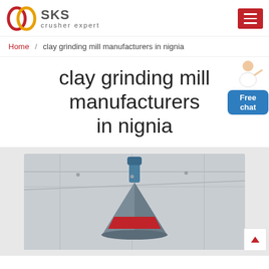[Figure (logo): SKS crusher expert logo with red interlocking rings icon and grey SKS text with tagline 'crusher expert']
Home / clay grinding mill manufacturers in nignia
clay grinding mill manufacturers in nignia
[Figure (photo): Industrial cone crusher machine photographed from below in a factory/warehouse setting, showing grey and blue metallic equipment with red accents]
[Figure (illustration): Customer service person illustration with Free chat button in blue]